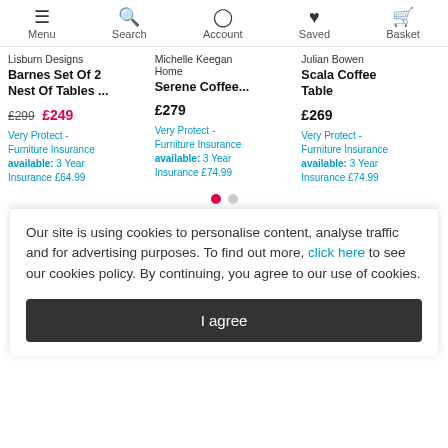Menu | Search | Account | Saved | Basket
Lisburn Designs
Barnes Set Of 2 Nest Of Tables ...
£299 £249
Very Protect - Furniture Insurance available: 3 Year Insurance £64.99
Michelle Keegan Home
Serene Coffee...
£279
Very Protect - Furniture Insurance available: 3 Year Insurance £74.99
Julian Bowen
Scala Coffee Table
£269
Very Protect - Furniture Insurance available: 3 Year Insurance £74.99
Our site is using cookies to personalise content, analyse traffic and for advertising purposes. To find out more, click here to see our cookies policy. By continuing, you agree to our use of cookies.
I agree